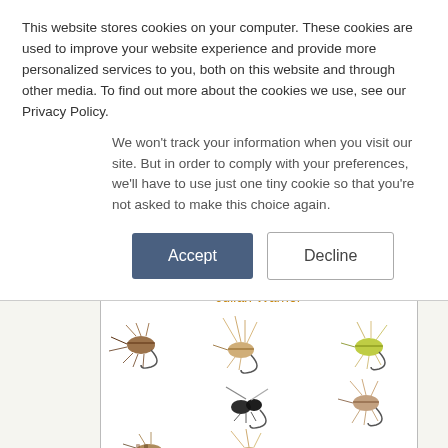This website stores cookies on your computer. These cookies are used to improve your website experience and provide more personalized services to you, both on this website and through other media. To find out more about the cookies we use, see our Privacy Policy.
We won't track your information when you visit our site. But in order to comply with your preferences, we'll have to use just one tiny cookie so that you're not asked to make this choice again.
Accept
Decline
Julian Warner
[Figure (photo): Grid of fly fishing lure illustrations showing various dry flies and wet flies arranged in a 3x3 grid pattern on a white background.]